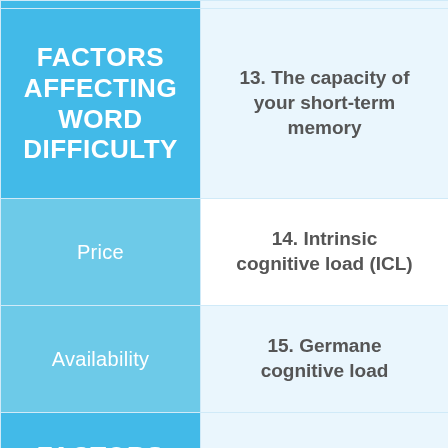FACTORS AFFECTING WORD DIFFICULTY
13. The capacity of your short-term memory
Price
14. Intrinsic cognitive load (ICL)
Availability
15. Germane cognitive load
FACTORS AFFECTING WORD DIFFICULTY
16. German cognitive load (GCL)